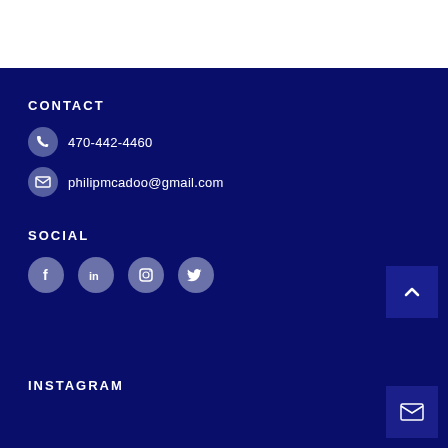CONTACT
470-442-4460
philipmcadoo@gmail.com
SOCIAL
[Figure (illustration): Four social media icons in gray circles: Facebook, LinkedIn, Instagram, Twitter]
INSTAGRAM